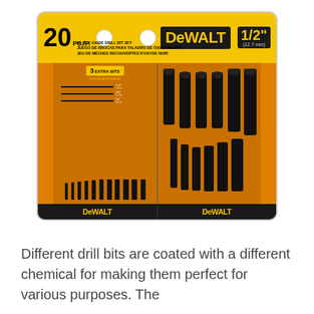[Figure (photo): DEWALT 20-piece black oxide drill bit set in yellow and black packaging. The package shows the drill bits arranged in a yellow/orange case with DEWALT branding. Includes 3 extra bits labeled 1/16", 3/32", 1/8". Maximum size is 1/2" (12.7mm).]
Different drill bits are coated with a different chemical for making them perfect for various purposes. The